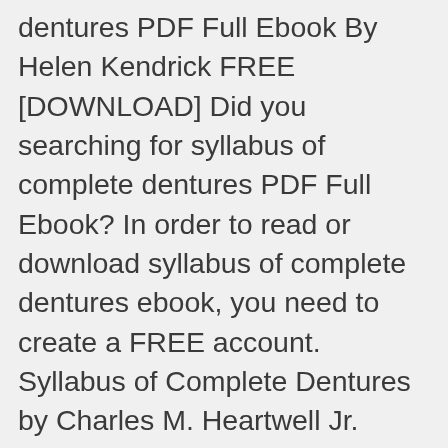dentures PDF Full Ebook By Helen Kendrick FREE [DOWNLOAD] Did you searching for syllabus of complete dentures PDF Full Ebook? In order to read or download syllabus of complete dentures ebook, you need to create a FREE account. Syllabus of Complete Dentures by Charles M. Heartwell Jr. Syllabus of complete dentures Hardcover – January 1, 1980 by Charles M Heartwell (Author) Syllabus Of Complete Dentures - bitofnews.com Get Free Syllabus Of Complete Denturesis not directly done, you could recognize even more concerning this life, on the world. In order to read or download Disegnare Con La Parte Destra Del Cervello in the middle of guides you could enjoy now is syllabus of complete dentures below. syllabus of complete dentures Sep 07, 2020 Posted By Lao Tzu Media Publishing TEXT ID